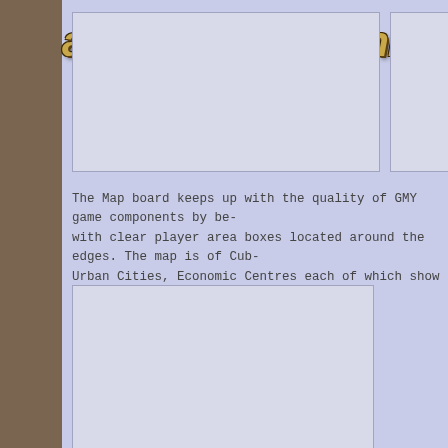ames Gazette Online
[Figure (photo): Image box left in header area, content not loaded]
[Figure (photo): Image box right in header area, content not loaded]
The Map board keeps up with the quality of GMY game components by be- with clear player area boxes located around the edges. The map is of Cub- Urban Cities, Economic Centres each of which show either Population or E
[Figure (photo): Bottom image box, broken image icon visible, content not fully loaded]